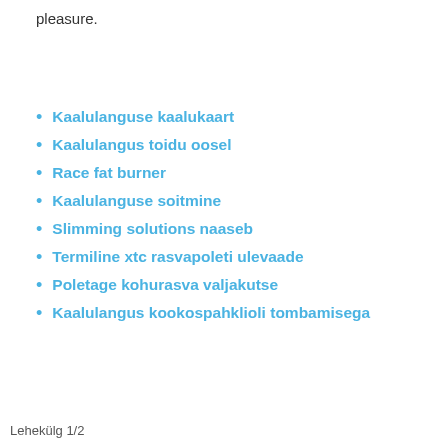pleasure.
Kaalulanguse kaalukaart
Kaalulangus toidu oosel
Race fat burner
Kaalulanguse soitmine
Slimming solutions naaseb
Termiline xtc rasvapoleti ulevaade
Poletage kohurasva valjakutse
Kaalulangus kookospahklioli tombamisega
Lehekülg 1/2